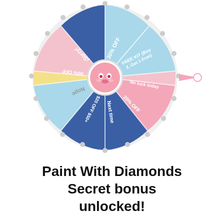[Figure (illustration): A colorful prize spin wheel with 10 segments in blue, pink, yellow, and light blue colors. Segments are labeled: 30% OFF, FREE KIT (Buy 2, Get 1 Free), No luck today, 20% OFF, Next time, $20 OFF $50+, Nope, 50% OFF, Sorry!. The wheel has a white border with decorative pegs, a pink arrow pointer on the right, and a cute pink cartoon character face in the center hub.]
Paint With Diamonds Secret bonus unlocked!